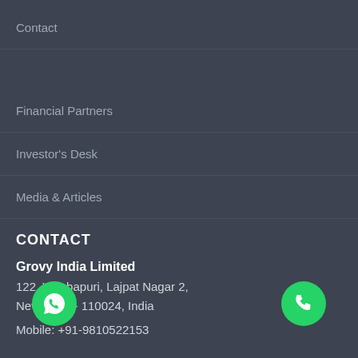Contact
Financial Partners
Investor's Desk
Media & Articles
CONTACT
Grovy India Limited
122, Vinobapuri, Lajpat Nagar 2,
New Delhi - 110024, India
Mobile: +91-9810522153